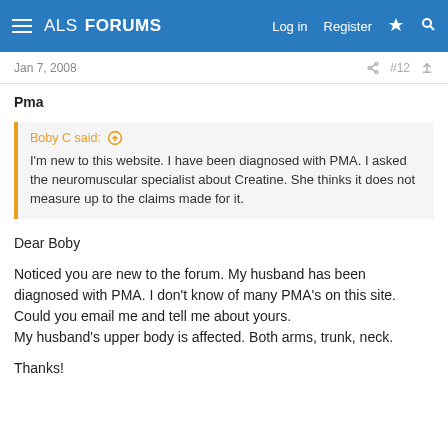ALS FORUMS  Log in  Register
Jan 7, 2008  #12
Pma
Boby C said: I'm new to this website. I have been diagnosed with PMA. I asked the neuromuscular specialist about Creatine. She thinks it does not measure up to the claims made for it.
Dear Boby

Noticed you are new to the forum. My husband has been diagnosed with PMA. I don't know of many PMA's on this site. Could you email me and tell me about yours.
My husband's upper body is affected. Both arms, trunk, neck.

Thanks!